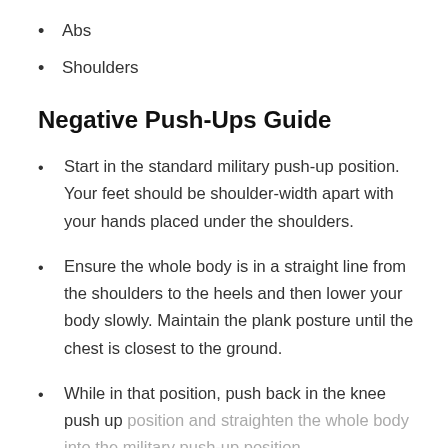Abs
Shoulders
Negative Push-Ups Guide
Start in the standard military push-up position. Your feet should be shoulder-width apart with your hands placed under the shoulders.
Ensure the whole body is in a straight line from the shoulders to the heels and then lower your body slowly. Maintain the plank posture until the chest is closest to the ground.
While in that position, push back in the knee push up position and straighten the whole body into the military push-up position.